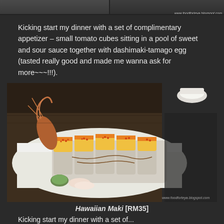[Figure (photo): Top strip showing two food photos at the top of the page, partially cropped]
Kicking start my dinner with a set of complimentary appetizer – small tomato cubes sitting in a pool of sweet and sour sauce together with dashimaki-tamago egg (tasted really good and made me wanna ask for more~~~!!!).
[Figure (photo): A plate of Hawaiian Maki sushi rolls topped with mango slices, orange tobiko (fish roe), and brown sauce drizzle. A tempura shrimp sits at one end. Garnished with wasabi and pickled ginger. Watermark: www.foodforteya.blogspot.com]
Hawaiian Maki [RM35]
Kicking start my dinner with a set of...